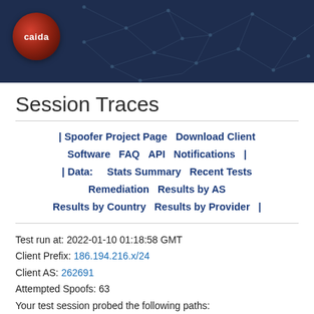[Figure (logo): CAIDA website header banner with dark navy blue background, network node/edge graphic pattern, and CAIDA logo (orange/red globe with 'caida' text) in top left corner]
Session Traces
| Spoofer Project Page   Download Client Software   FAQ   API   Notifications   |
| Data:    Stats Summary   Recent Tests   Remediation   Results by AS
Results by Country   Results by Provider   |
Test run at: 2022-01-10 01:18:58 GMT
Client Prefix: 186.194.216.x/24
Client AS: 262691
Attempted Spoofs: 63
Your test session probed the following paths: